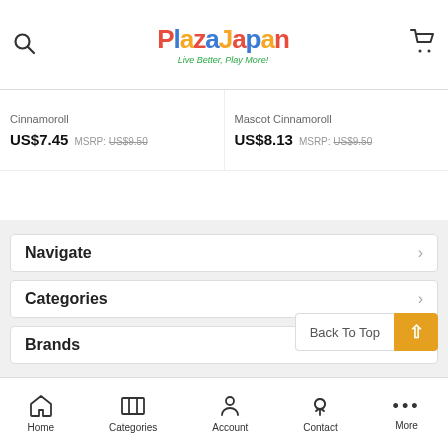Plaza Japan — Live Better, Play More!
Cinnamoroll   US$7.45   MSRP: US$9.50
Mascot Cinnamoroll   US$8.13   MSRP: US$9.50
Navigate
Categories
Brands
Home   Categories   Account   Contact   More